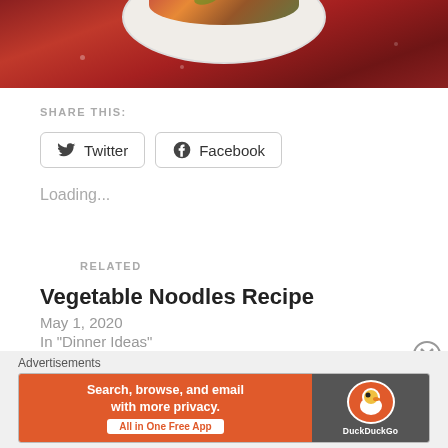[Figure (photo): Top portion of a food photo showing a white bowl with noodle/vegetable dish on a red fabric background]
SHARE THIS:
Twitter
Facebook
Loading...
RELATED
Vegetable Noodles Recipe
May 1, 2020
In "Dinner Ideas"
Advertisements
[Figure (screenshot): DuckDuckGo advertisement banner: Search, browse, and email with more privacy. All in One Free App]